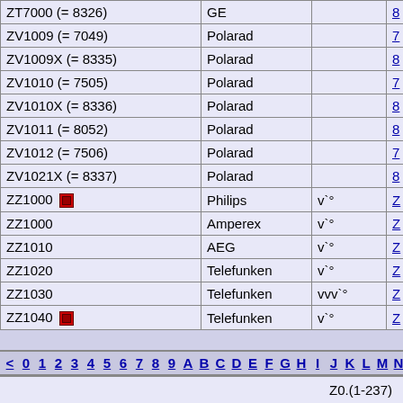| Model | Manufacturer | Notes | Ref |
| --- | --- | --- | --- |
| ZT7000 (= 8326) | GE |  | 8 |
| ZV1009 (= 7049) | Polarad |  | 7 |
| ZV1009X (= 8335) | Polarad |  | 8 |
| ZV1010 (= 7505) | Polarad |  | 7 |
| ZV1010X (= 8336) | Polarad |  | 8 |
| ZV1011 (= 8052) | Polarad |  | 8 |
| ZV1012 (= 7506) | Polarad |  | 7 |
| ZV1021X (= 8337) | Polarad |  | 8 |
| ZZ1000 [icon] | Philips | v`° | Z |
| ZZ1000 | Amperex | v`° | Z |
| ZZ1010 | AEG | v`° | Z |
| ZZ1020 | Telefunken | v`° | Z |
| ZZ1030 | Telefunken | vvv`° | Z |
| ZZ1040 [icon] | Telefunken | v`° | Z |
< 0 1 2 3 4 5 6 7 8 9 A B C D E F G H I J K L M N
Z0.(1-237)